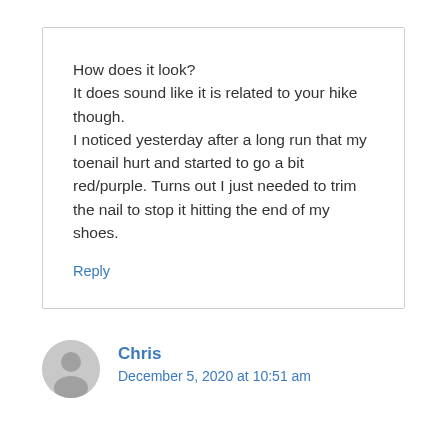How does it look?
It does sound like it is related to your hike though.
I noticed yesterday after a long run that my toenail hurt and started to go a bit red/purple. Turns out I just needed to trim the nail to stop it hitting the end of my shoes.
Reply
Chris
December 5, 2020 at 10:51 am